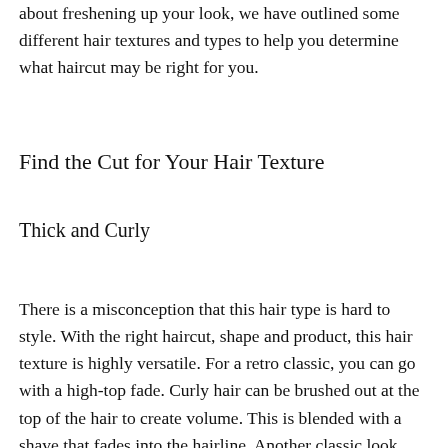about freshening up your look, we have outlined some different hair textures and types to help you determine what haircut may be right for you.
Find the Cut for Your Hair Texture
Thick and Curly
There is a misconception that this hair type is hard to style. With the right haircut, shape and product, this hair texture is highly versatile. For a retro classic, you can go with a high-top fade. Curly hair can be brushed out at the top of the hair to create volume. This is blended with a shave that fades into the hairline. Another classic look